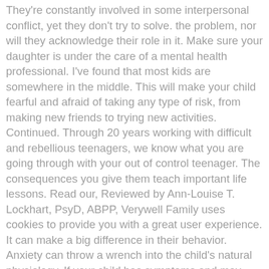They're constantly involved in some interpersonal conflict, yet they don't try to solve. the problem, nor will they acknowledge their role in it. Make sure your daughter is under the care of a mental health professional. I've found that most kids are somewhere in the middle. This will make your child fearful and afraid of taking any type of risk, from making new friends to trying new activities. Continued. Through 20 years working with difficult and rebellious teenagers, we know what you are going through with your out of control teenager. The consequences you give them teach important life lessons. Read our, Reviewed by Ann-Louise T. Lockhart, PsyD, ABPP, Verywell Family uses cookies to provide you with a great user experience. It can make a big difference in their behavior. Anxiety can throw a wrench into the child's natural physiology. If your child has symptoms and may have been exposed to the virus that causes COVID-19 or has been in an area where the